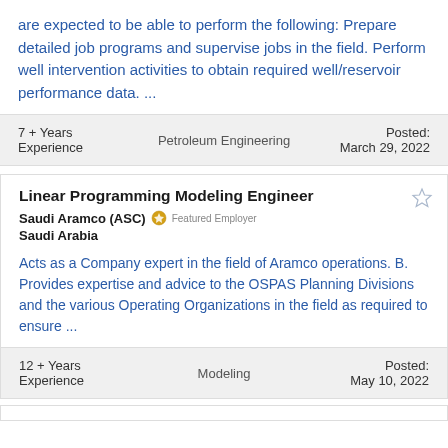are expected to be able to perform the following: Prepare detailed job programs and supervise jobs in the field. Perform well intervention activities to obtain required well/reservoir performance data. ...
7 + Years Experience   Petroleum Engineering   Posted: March 29, 2022
Linear Programming Modeling Engineer
Saudi Aramco (ASC)  Featured Employer
Saudi Arabia
Acts as a Company expert in the field of Aramco operations. B. Provides expertise and advice to the OSPAS Planning Divisions and the various Operating Organizations in the field as required to ensure ...
12 + Years Experience   Modeling   Posted: May 10, 2022